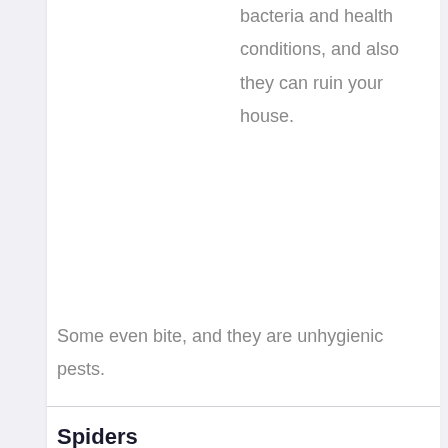bacteria and health conditions, and also they can ruin your house. Some even bite, and they are unhygienic pests.
Spiders
While spiders can be useful by killing various other insects, some are poisonous or